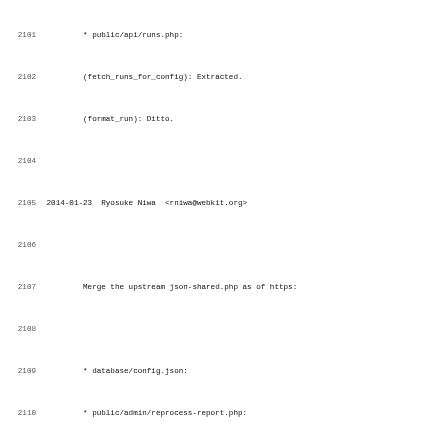Source code changelog lines 2101-2132
2101         * public/api/runs.php:
2102         (fetch_runs_for_config): Extracted.
2103         (format_run): Ditto.
2104
2105 2014-01-23  Ryosuke Niwa  <rniwa@webkit.org>
2106
2107         Merge the upstream json-shared.php as of https:
2108
2109         * database/config.json:
2110         * public/admin/reprocess-report.php:
2111         * public/api/report.php:
2112         * public/api/runs.php:
2113         * public/include/json-header.php:
2114
2115 2014-01-23  Ryosuke Niwa  <rniwa@webkit.org>
2116
2117         Commit yet another forgotten change.
2118
2119         Something went horribly wrong with my merge :(
2120
2121         * database/init-database.sql:
2122
2123 2014-01-23  Ryosuke Niwa  <rniwa@webkit.org>
2124
2125         Commit one more forgotten change. Sorry for mak
2126
2127 2014-01-23  Ryosuke Niwa  <rniwa@webkit.org>
2128
2129         Commit the forgotten files.
2130
2131         * public/admin/platforms.php: Added.
2132         * tests/admin-platforms.js: Added.